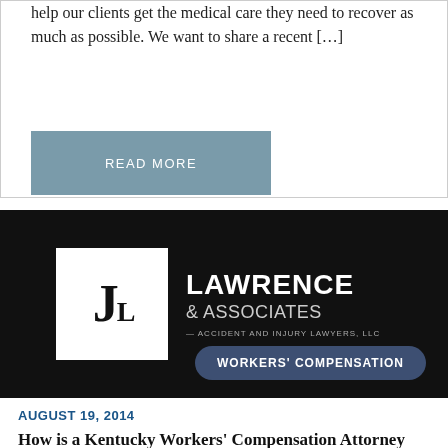help our clients get the medical care they need to recover as much as possible. We want to share a recent […]
READ MORE
[Figure (logo): Lawrence & Associates Accident and Injury Lawyers LLC logo on dark background with Workers' Compensation badge]
AUGUST 19, 2014
How is a Kentucky Workers' Compensation Attorney